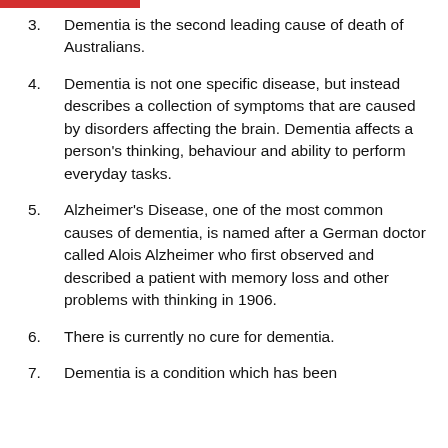3. Dementia is the second leading cause of death of Australians.
4. Dementia is not one specific disease, but instead describes a collection of symptoms that are caused by disorders affecting the brain. Dementia affects a person’s thinking, behaviour and ability to perform everyday tasks.
5. Alzheimer’s Disease, one of the most common causes of dementia, is named after a German doctor called Alois Alzheimer who first observed and described a patient with memory loss and other problems with thinking in 1906.
6. There is currently no cure for dementia.
7. Dementia is a condition which has been...